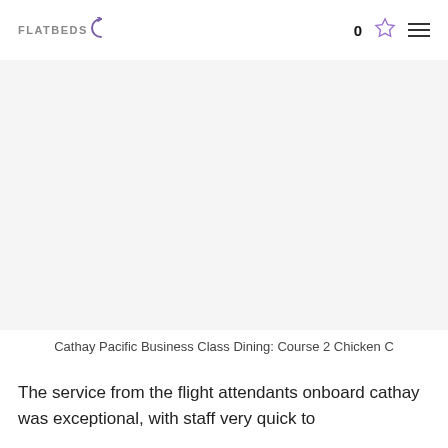FLATBEDS — navigation with 0 favorites and menu
[Figure (photo): Photo of Cathay Pacific Business Class Dining: Course 2 Chicken (image area, mostly white/blank in this crop)]
Cathay Pacific Business Class Dining: Course 2 Chicken C
The service from the flight attendants onboard cathay was exceptional, with staff very quick to